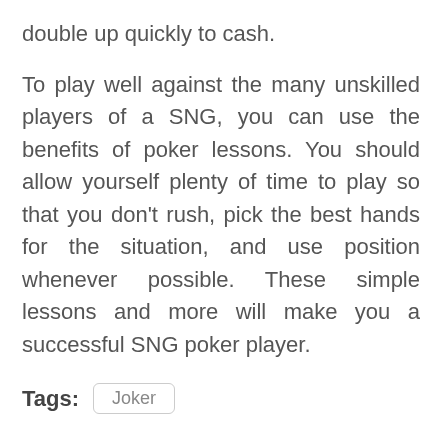double up quickly to cash.
To play well against the many unskilled players of a SNG, you can use the benefits of poker lessons. You should allow yourself plenty of time to play so that you don't rush, pick the best hands for the situation, and use position whenever possible. These simple lessons and more will make you a successful SNG poker player.
Tags: Joker